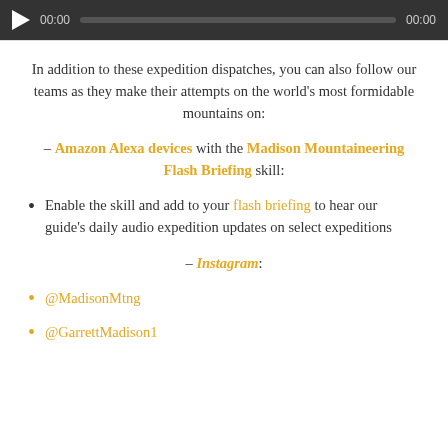[Figure (screenshot): Audio player bar with play button, 00:00 timestamp, progress bar, and 00:00 end time on dark background]
In addition to these expedition dispatches, you can also follow our teams as they make their attempts on the world's most formidable mountains on:
– Amazon Alexa devices with the Madison Mountaineering Flash Briefing skill:
Enable the skill and add to your flash briefing to hear our guide's daily audio expedition updates on select expeditions
– Instagram:
@MadisonMtng
@GarrettMadison1